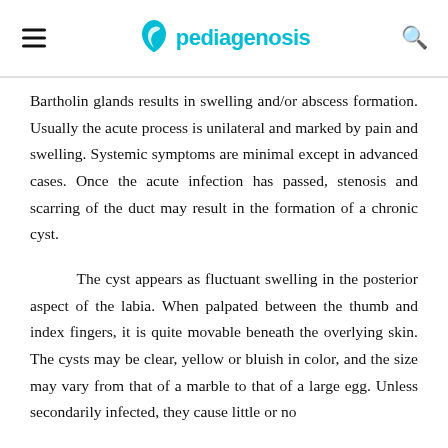pediagenosis
Bartholin glands results in swelling and/or abscess formation. Usually the acute process is unilateral and marked by pain and swelling. Systemic symptoms are minimal except in advanced cases. Once the acute infection has passed, stenosis and scarring of the duct may result in the formation of a chronic cyst.
The cyst appears as fluctuant swelling in the posterior aspect of the labia. When palpated between the thumb and index fingers, it is quite movable beneath the overlying skin. The cysts may be clear, yellow or bluish in color, and the size may vary from that of a marble to that of a large egg. Unless secondarily infected, they cause little or no